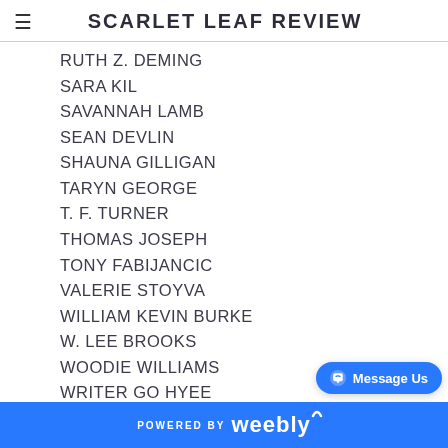SCARLET LEAF REVIEW
RUTH Z. DEMING
SARA KIL
SAVANNAH LAMB
SEAN DEVLIN
SHAUNA GILLIGAN
TARYN GEORGE
T. F. TURNER
THOMAS JOSEPH
TONY FABIJANCIC
VALERIE STOYVA
WILLIAM KEVIN BURKE
W. LEE BROOKS
WOODIE WILLIAMS
WRITER GO HYEE
YAANA DANCER
RSS Feed
POWERED BY weebly